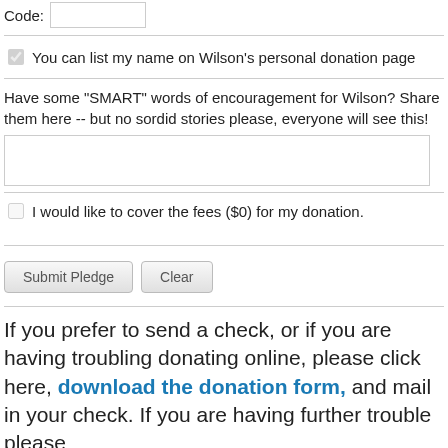Code:
You can list my name on Wilson's personal donation page
Have some "SMART" words of encouragement for Wilson? Share them here -- but no sordid stories please, everyone will see this!
I would like to cover the fees ($0) for my donation.
Submit Pledge   Clear
If you prefer to send a check, or if you are having troubling donating online, please click here, download the donation form, and mail in your check. If you are having further trouble please